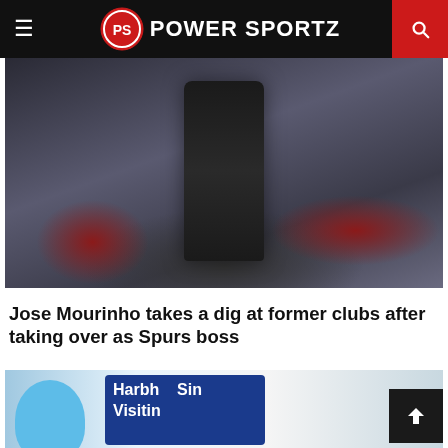Power Sportz
[Figure (photo): Two men in dark jackets on a football pitch touchline, one with arm around the other's shoulder, crowd visible in background with red tones]
Jose Mourinho takes a dig at former clubs after taking over as Spurs boss
[Figure (photo): Harbhajan Singh Visiting event banner with man in black cap and turban visible, blue background with white text]